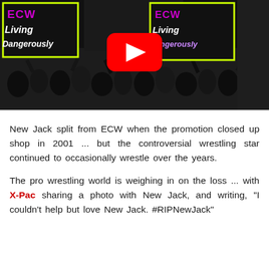[Figure (screenshot): YouTube video thumbnail showing an ECW Living Dangerously wrestling event with crowd and banners, with a red YouTube play button overlay in the center.]
New Jack split from ECW when the promotion closed up shop in 2001 ... but the controversial wrestling star continued to occasionally wrestle over the years.
The pro wrestling world is weighing in on the loss ... with X-Pac sharing a photo with New Jack, and writing, "I couldn't help but love New Jack. #RIPNewJack"